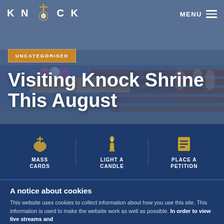KNOCK — MENU
[Figure (photo): Interior of Knock Shrine church with rows of red chairs, flowers on altar, and people in background. Dark blue overlay.]
UNCATEGORISED
Visiting Knock Shrine This August
MASS CARDS
LIGHT A CANDLE
PLACE A PETITION
A notice about cookies
This website uses cookies to collect information about how you use this site. This information is used to make the website work as well as possible. In order to view live streams and